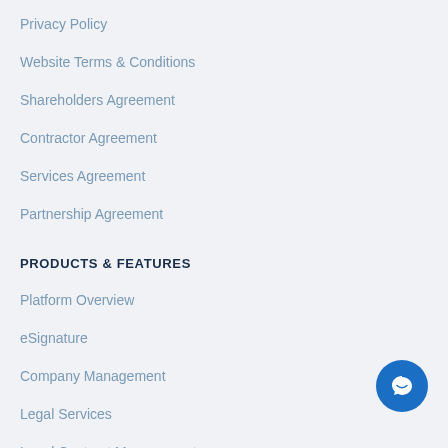Privacy Policy
Website Terms & Conditions
Shareholders Agreement
Contractor Agreement
Services Agreement
Partnership Agreement
PRODUCTS & FEATURES
Platform Overview
eSignature
Company Management
Legal Services
Legal Contract Management
Team Collaboration
ABOUT